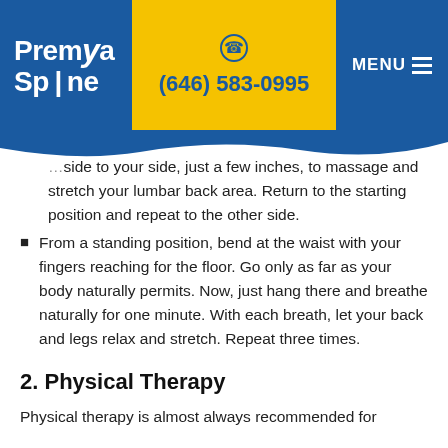[Figure (logo): Premia Spine logo and navigation header with phone number (646) 583-0995]
side to your side, just a few inches, to massage and stretch your lumbar back area. Return to the starting position and repeat to the other side.
From a standing position, bend at the waist with your fingers reaching for the floor. Go only as far as your body naturally permits. Now, just hang there and breathe naturally for one minute. With each breath, let your back and legs relax and stretch. Repeat three times.
2. Physical Therapy
Physical therapy is almost always recommended for